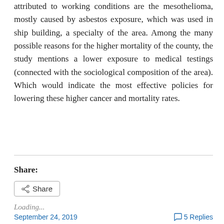attributed to working conditions are the mesothelioma, mostly caused by asbestos exposure, which was used in ship building, a specialty of the area. Among the many possible reasons for the higher mortality of the county, the study mentions a lower exposure to medical testings (connected with the sociological composition of the area). Which would indicate the most effective policies for lowering these higher cancer and mortality rates.
Share:
Share
Loading...
September 24, 2019
5 Replies